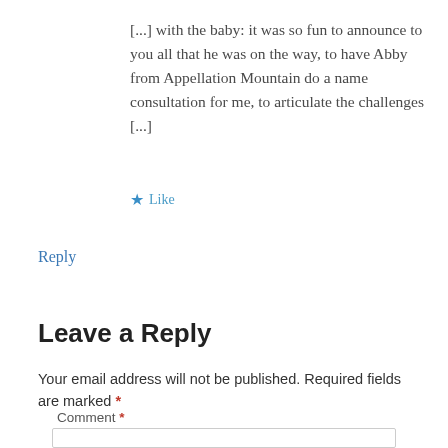[...] with the baby: it was so fun to announce to you all that he was on the way, to have Abby from Appellation Mountain do a name consultation for me, to articulate the challenges [...]
★ Like
Reply
Leave a Reply
Your email address will not be published. Required fields are marked *
Comment *